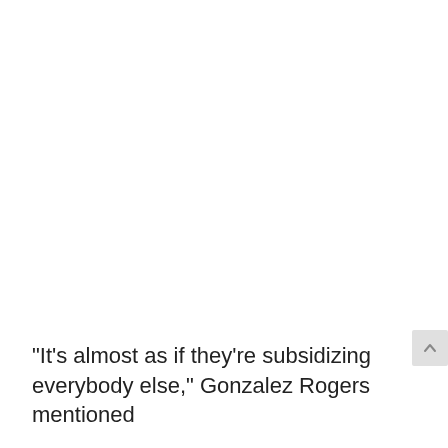“It’s almost as if they’re subsidizing everybody else,” Gonzalez Rogers mentioned